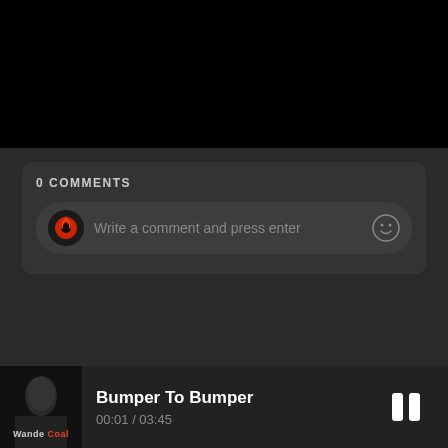[Figure (screenshot): Black top area of a music app screen]
0 COMMENTS
Write a comment and press enter
Bumper To Bumper
00:01 / 03:45
[Figure (photo): Album art thumbnail for Wande Coal - Bumper To Bumper, showing an artist photo in black and white with 'Wande Coal' label at the bottom]